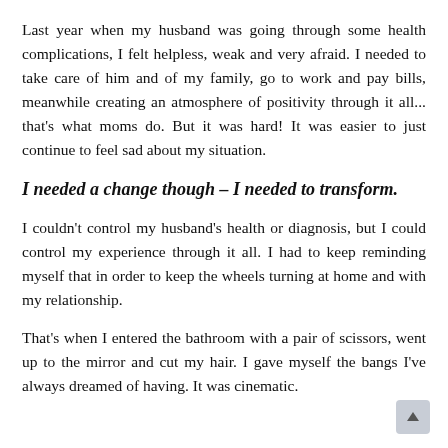Last year when my husband was going through some health complications, I felt helpless, weak and very afraid. I needed to take care of him and of my family, go to work and pay bills, meanwhile creating an atmosphere of positivity through it all... that's what moms do. But it was hard! It was easier to just continue to feel sad about my situation.
I needed a change though – I needed to transform.
I couldn't control my husband's health or diagnosis, but I could control my experience through it all. I had to keep reminding myself that in order to keep the wheels turning at home and with my relationship.
That's when I entered the bathroom with a pair of scissors, went up to the mirror and cut my hair. I gave myself the bangs I've always dreamed of having. It was cinematic.